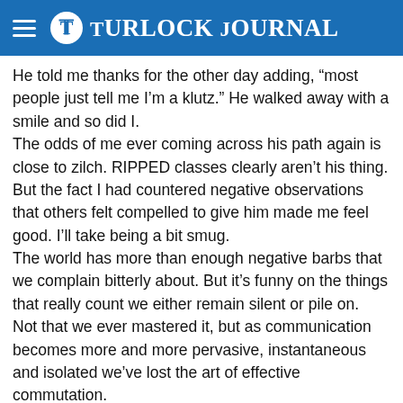Turlock Journal
He told me thanks for the other day adding, “most people just tell me I’m a klutz.” He walked away with a smile and so did I.
The odds of me ever coming across his path again is close to zilch. RIPPED classes clearly aren’t his thing.
But the fact I had countered negative observations that others felt compelled to give him made me feel good. I’ll take being a bit smug.
The world has more than enough negative barbs that we complain bitterly about. But it’s funny on the things that really count we either remain silent or pile on.
Not that we ever mastered it, but as communication becomes more and more pervasive, instantaneous and isolated we’ve lost the art of effective commutation.
As corny as it might sound, we’ve forgotten two simple words that my grandmother would tell me to live by after admonishing me not to go around with a chip on my shoulder and to refrain from…